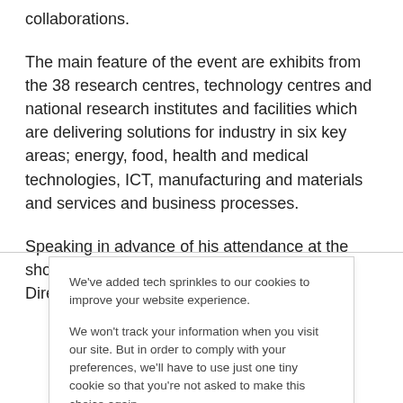collaborations.
The main feature of the event are exhibits from the 38 research centres, technology centres and national research institutes and facilities which are delivering solutions for industry in six key areas; energy, food, health and medical technologies, ICT, manufacturing and materials and services and business processes.
Speaking in advance of his attendance at the showcase where he will launch the official Directory
We've added tech sprinkles to our cookies to improve your website experience.
We won't track your information when you visit our site. But in order to comply with your preferences, we'll have to use just one tiny cookie so that you're not asked to make this choice again.